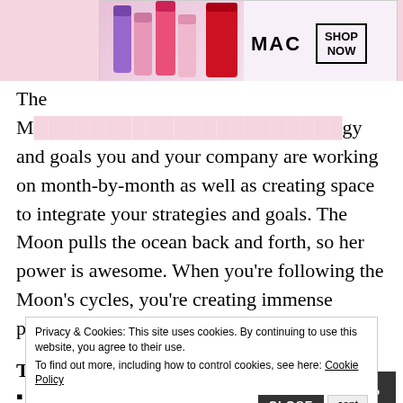[Figure (photo): MAC cosmetics advertisement banner with colorful lipsticks and SHOP NOW button]
The M[...] gy and goals you and your company are working on month-by-month as well as creating space to integrate your strategies and goals. The Moon pulls the ocean back and forth, so her power is awesome. When you're following the Moon's cycles, you're creating immense power to help you attain your goals.
The main Moon phases are:
When the Moon is New – set your intentions or goals.
Privacy & Cookies: This site uses cookies. By continuing to use this website, you agree to their use. To find out more, including how to control cookies, see here: Cookie Policy
[Figure (photo): ULTA Beauty advertisement banner with makeup images and SHOP NOW button]
W… to